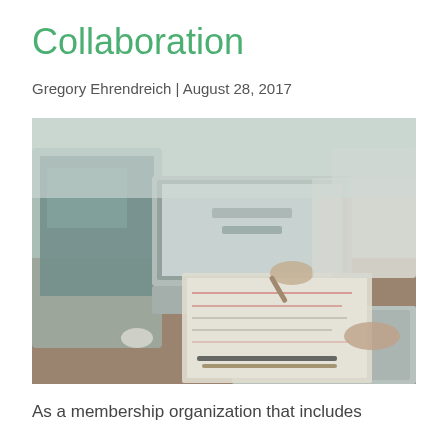Collaboration
Gregory Ehrendreich | August 28, 2017
[Figure (photo): Two people at a wooden desk with laptops open, one person writing on paper with a pen while another person sits across; pens and notebooks on the desk, collaborative work setting, muted teal/grey tones.]
As a membership organization that includes